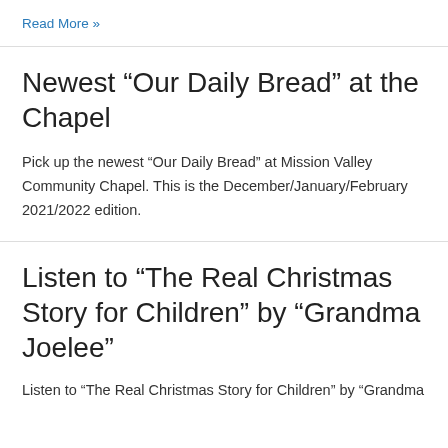Read More »
Newest “Our Daily Bread” at the Chapel
Pick up the newest “Our Daily Bread” at Mission Valley Community Chapel. This is the December/January/February 2021/2022 edition.
Listen to “The Real Christmas Story for Children” by “Grandma Joelee”
Listen to “The Real Christmas Story for Children” by “Grandma